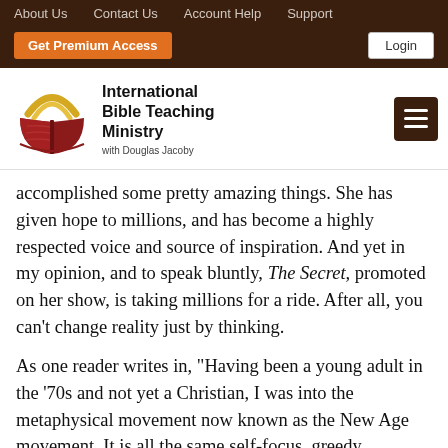About Us   Contact Us   Account Help   Support
Get Premium Access   Login
[Figure (logo): International Bible Teaching Ministry with Douglas Jacoby logo — open book with golden arc above it, maroon/red coloring]
accomplished some pretty amazing things. She has given hope to millions, and has become a highly respected voice and source of inspiration. And yet in my opinion, and to speak bluntly, The Secret, promoted on her show, is taking millions for a ride. After all, you can't change reality just by thinking.
As one reader writes in, "Having been a young adult in the '70s and not yet a Christian, I was into the metaphysical movement now known as the New Age movement. It is all the same self-focus, greedy